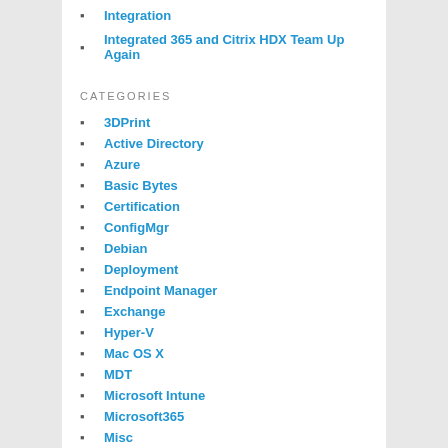Integration
Integrated 365 and Citrix HDX Team Up Again
CATEGORIES
3DPrint
Active Directory
Azure
Basic Bytes
Certification
ConfigMgr
Debian
Deployment
Endpoint Manager
Exchange
Hyper-V
Mac OS X
MDT
Microsoft Intune
Microsoft365
Misc
MSiX